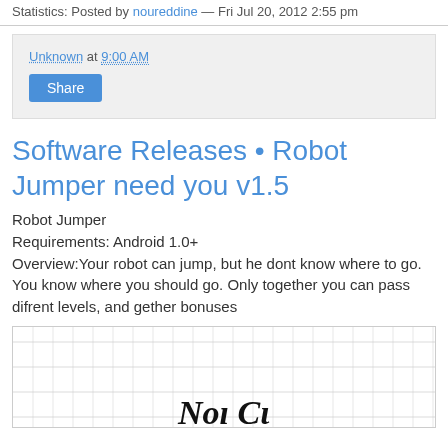Statistics: Posted by noureddine — Fri Jul 20, 2012 2:55 pm
Unknown at 9:00 AM
Share
Software Releases • Robot Jumper need you v1.5
Robot Jumper
Requirements: Android 1.0+
Overview:Your robot can jump, but he dont know where to go. You know where you should go. Only together you can pass difrent levels, and gether bonuses
[Figure (illustration): Grid-lined image area with stylized script text at the bottom resembling handwritten letters]